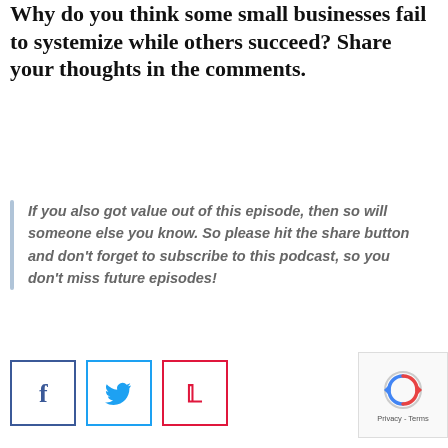Why do you think some small businesses fail to systemize while others succeed? Share your thoughts in the comments.
If you also got value out of this episode, then so will someone else you know. So please hit the share button and don't forget to subscribe to this podcast, so you don't miss future episodes!
[Figure (other): Social share buttons: Facebook (f icon, blue border), Twitter (bird icon, blue border), Pinterest (P icon, red border)]
[Figure (other): Google reCAPTCHA widget with spinning arrows logo and Privacy - Terms text]